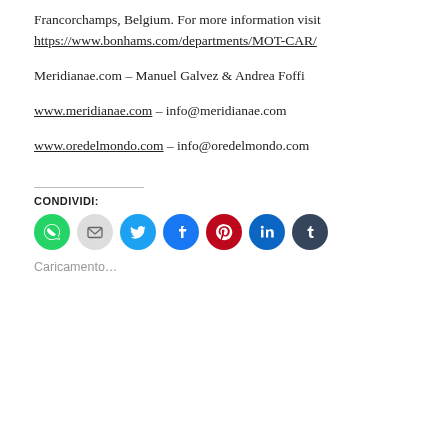Francorchamps, Belgium. For more information visit https://www.bonhams.com/departments/MOT-CAR/
Meridianae.com – Manuel Galvez & Andrea Foffi
www.meridianae.com – info@meridianae.com
www.oredelmondo.com – info@oredelmondo.com
CONDIVIDI:
[Figure (infographic): Row of 7 social share icon circles: WhatsApp (green), Email (light gray), Twitter (cyan), Facebook (blue), Pinterest (dark red), LinkedIn (dark blue), Tumblr (dark navy)]
Caricamento...